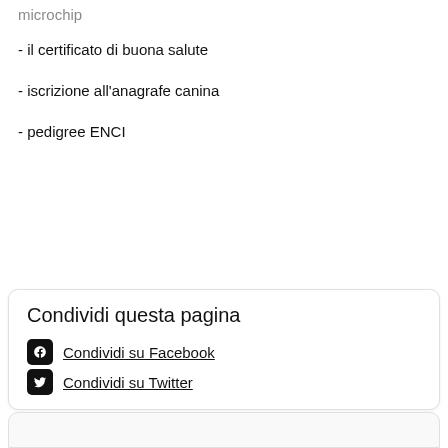- il certificato di buona salute
- iscrizione all'anagrafe canina
- pedigree ENCI
Condividi questa pagina
Condividi su Facebook
Condividi su Twitter